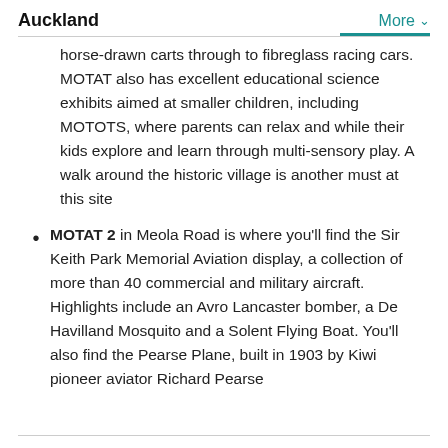Auckland
horse-drawn carts through to fibreglass racing cars. MOTAT also has excellent educational science exhibits aimed at smaller children, including MOTOTS, where parents can relax and while their kids explore and learn through multi-sensory play. A walk around the historic village is another must at this site
MOTAT 2 in Meola Road is where you'll find the Sir Keith Park Memorial Aviation display, a collection of more than 40 commercial and military aircraft. Highlights include an Avro Lancaster bomber, a De Havilland Mosquito and a Solent Flying Boat. You'll also find the Pearse Plane, built in 1903 by Kiwi pioneer aviator Richard Pearse